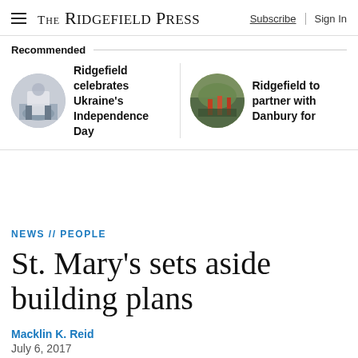THE RIDGEFIELD PRESS | Subscribe | Sign In
Recommended
Ridgefield celebrates Ukraine's Independence Day
Ridgefield to partner with Danbury for
NEWS // PEOPLE
St. Mary's sets aside building plans
Macklin K. Reid
July 6, 2017